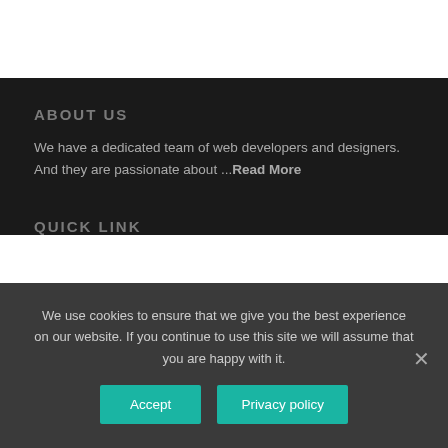ABOUT US
We have a dedicated team of web developers and designers. And they are passionate about ...Read More
QUICK LINK
We use cookies to ensure that we give you the best experience on our website. If you continue to use this site we will assume that you are happy with it.
Accept  Privacy policy